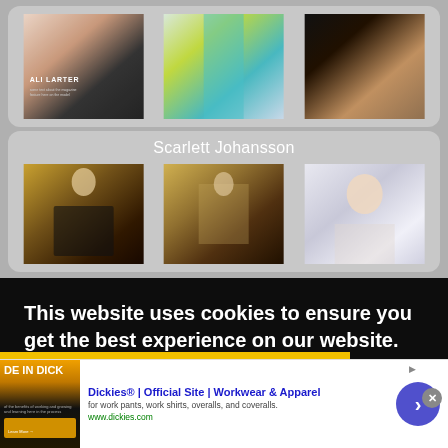[Figure (photo): Top card with three celebrity photos: Ali Larter magazine photo (black outfit, red hair), woman in yellow-green dress, and woman in black dress on dark background]
Scarlett Johansson
[Figure (photo): Three photos of Scarlett Johansson in warm-toned room settings (dark outfit), and a bright portrait shot]
This website uses cookies to ensure you get the best experience on our website.
Learn more
Dickies® | Official Site | Workwear & Apparel
for work pants, work shirts, overalls, and coveralls.
www.dickies.com